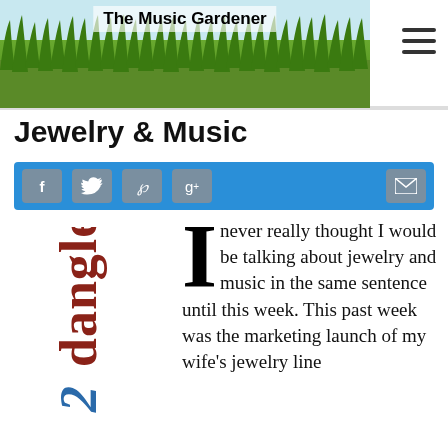The Music Gardener
Jewelry & Music
[Figure (infographic): Social share bar with Facebook, Twitter, Pinterest, Google+, and email icons on a blue background]
[Figure (illustration): Stylized decorative text reading '2dangle' rotated vertically with ornate lettering]
I never really thought I would be talking about jewelry and music in the same sentence until this week. This past week was the marketing launch of my wife’s jewelry line